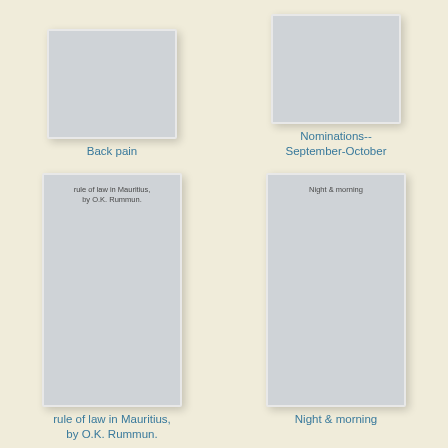[Figure (illustration): Book cover thumbnail (cropped top half) for 'Back pain']
Back pain
[Figure (illustration): Book cover thumbnail (cropped top half) for 'Nominations--September-October']
Nominations--September-October
[Figure (illustration): Book cover for 'rule of law in Mauritius, by O.K. Rummun.']
rule of law in Mauritius, by O.K. Rummun.
[Figure (illustration): Book cover for 'Night & morning']
Night & morning